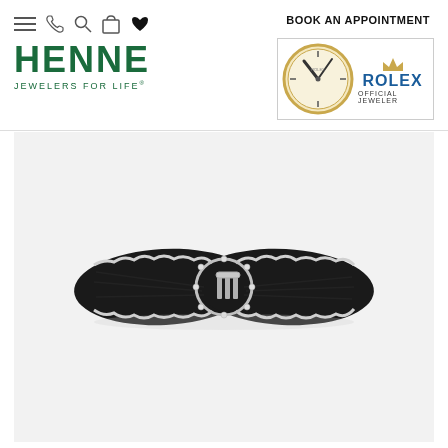HENNE JEWELERS FOR LIFE® — Navigation header with BOOK AN APPOINTMENT and Rolex Official Jeweler badge
[Figure (photo): Black velvet bow brooch with diamond-set platinum border and decorative diamond buckle center piece, photographed on white background]